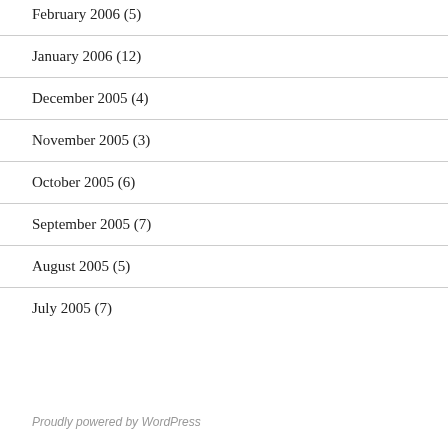February 2006 (5)
January 2006 (12)
December 2005 (4)
November 2005 (3)
October 2005 (6)
September 2005 (7)
August 2005 (5)
July 2005 (7)
Proudly powered by WordPress